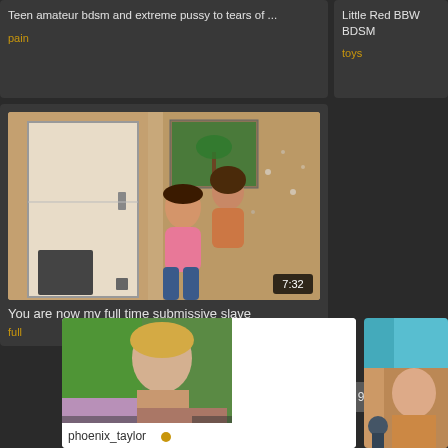Teen amateur bdsm and extreme pussy to tears of ...
pain
Little Red BBW BDSM
toys
[Figure (photo): Two women in a room, one carrying the other, indoor scene with door and wall art visible, duration badge showing 7:32]
You are now my full time submissive slave
full
1
2
3
4
5
...
9
[Figure (photo): Webcam-style photo of a young blonde woman on a bed with purple bedding, green-lit room background]
phoenix_taylor
[Figure (illustration): Partial view of an animated/illustrated figure in blue and tan tones]